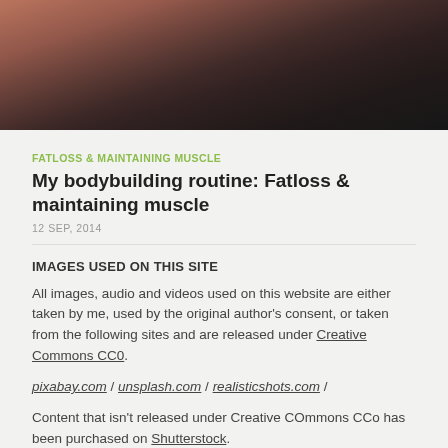[Figure (photo): Top portion of a photo showing a person in athletic/gym setting, likely lifting weights, cropped at top of page]
FATLOSS & MAINTAINING MUSCLE
My bodybuilding routine: Fatloss & maintaining muscle
12 SEP, 2014
IMAGES USED ON THIS SITE
All images, audio and videos used on this website are either taken by me, used by the original author's consent, or taken from the following sites and are released under Creative Commons CC0.
pixabay.com / unsplash.com / realisticshots.com /
Content that isn't released under Creative COmmons CCo has been purchased on Shutterstock.
If you happen to come across an image that does not meet the requirements, please...